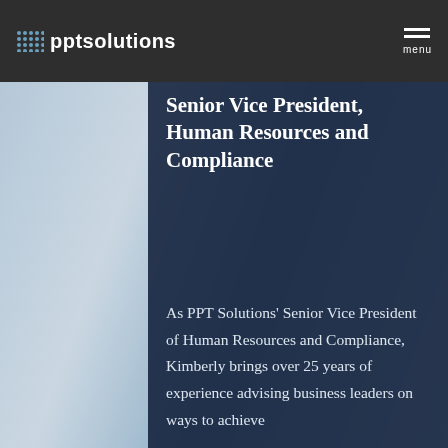pptsolutions  menu
Senior Vice President, Human Resources and Compliance
As PPT Solutions’ Senior Vice President of Human Resources and Compliance, Kimberly brings over 25 years of experience advising business leaders on ways to achieve
Your online experience is important to us. Our site uses cookies to provide you with a more responsive and personalized service. Click here to learn more about cookies and how to change your settings.
x